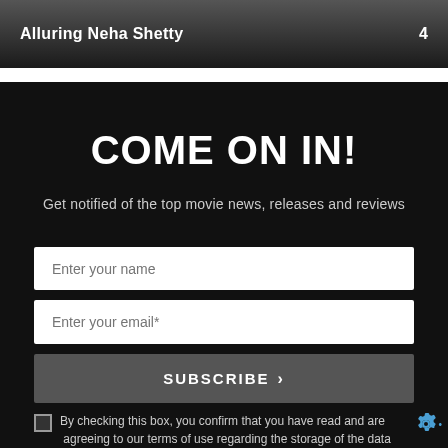Alluring Neha Shetty   4
COME ON IN!
Get notified of the top movie news, releases and reviews
Enter your name
Enter your email*
SUBSCRIBE  >
By checking this box, you confirm that you have read and are agreeing to our terms of use regarding the storage of the data